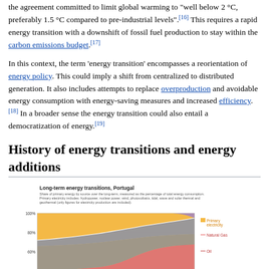the agreement committed to limit global warming to 'well below 2 °C, preferably 1.5 °C compared to pre-industrial levels'.[16] This requires a rapid energy transition with a downshift of fossil fuel production to stay within the carbon emissions budget.[17]
In this context, the term 'energy transition' encompasses a reorientation of energy policy. This could imply a shift from centralized to distributed generation. It also includes attempts to replace overproduction and avoidable energy consumption with energy-saving measures and increased efficiency.[18] In a broader sense the energy transition could also entail a democratization of energy.[19]
History of energy transitions and energy additions
[Figure (area-chart): Stacked area chart showing share of primary energy by source over the long-term, measured as the percentage of total energy consumption. Primary electricity includes: hydropower, nuclear power, wind, photovoltaics, tidal, wave and solar thermal and geothermal (only figures for electricity production are included). Shows layers for Primary electricity, Natural Gas, Oil, and other sources from roughly 1800 to 2019. Y-axis from 40% to 100%.]